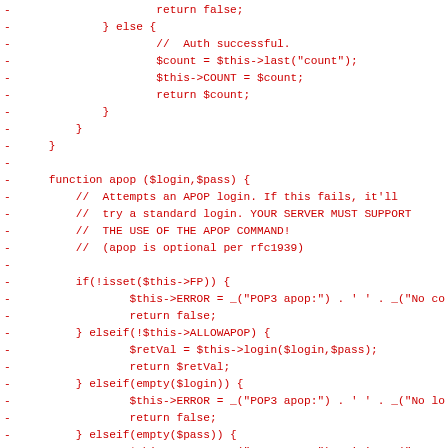[Figure (screenshot): Source code diff showing PHP code for POP3 APOP login function, displayed in red monospace font on white background. Lines are prefixed with '-' indicating removed/old code lines in a diff view.]